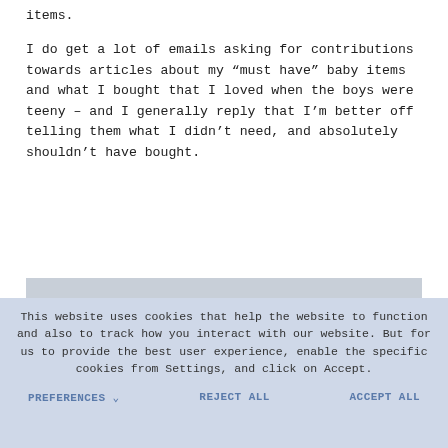items.
I do get a lot of emails asking for contributions towards articles about my “must have” baby items and what I bought that I loved when the boys were teeny – and I generally reply that I’m better off telling them what I didn’t need, and absolutely shouldn’t have bought.
[Figure (photo): Partial view of a photo strip at the bottom of the article content, showing a light grayish image.]
This website uses cookies that help the website to function and also to track how you interact with our website. But for us to provide the best user experience, enable the specific cookies from Settings, and click on Accept.
PREFERENCES ↓   REJECT ALL   ACCEPT ALL